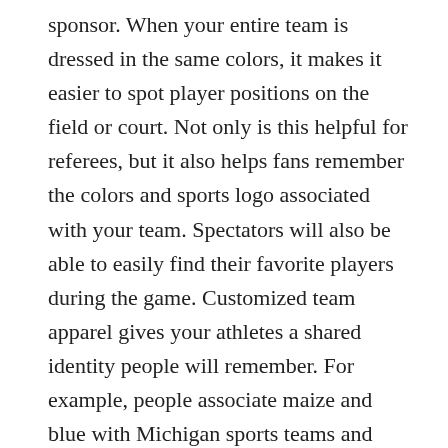sponsor. When your entire team is dressed in the same colors, it makes it easier to spot player positions on the field or court. Not only is this helpful for referees, but it also helps fans remember the colors and sports logo associated with your team. Spectators will also be able to easily find their favorite players during the game. Customized team apparel gives your athletes a shared identity people will remember. For example, people associate maize and blue with Michigan sports teams and white and green with Michigan State. A team dressed in customized athletic apparel is dressed to win. When athletes enter the field or court wearing their sports team colors, it sends a message to the opposition that they work well as a team and